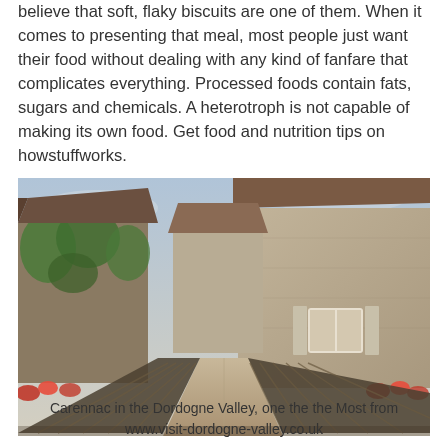believe that soft, flaky biscuits are one of them. When it comes to presenting that meal, most people just want their food without dealing with any kind of fanfare that complicates everything. Processed foods contain fats, sugars and chemicals. A heterotroph is not capable of making its own food. Get food and nutrition tips on howstuffworks.
[Figure (photo): A scenic photo of Carennac in the Dordogne Valley, France, showing a stone bridge leading into a medieval village with ivy-covered stone buildings, terracotta rooftops, lush green trees, and red flowers along the bridge railings.]
Carennac in the Dordogne Valley, one the the Most from www.visit-dordogne-valley.co.uk